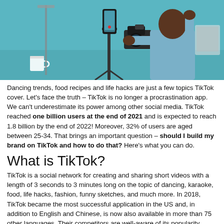[Figure (photo): A person holding a smartphone on a gimbal/tripod stabilizer, with a DSLR camera also visible on a mount, in what appears to be a studio or home setup with teal/blue wall in background.]
Dancing trends, food recipes and life hacks are just a few topics TikTok cover. Let's face the truth – TikTok is no longer a procrastination app. We can't underestimate its power among other social media. TikTok reached one billion users at the end of 2021 and is expected to reach 1.8 billion by the end of 2022! Moreover, 32% of users are aged between 25-34. That brings an important question – should I build my brand on TikTok and how to do that? Here's what you can do.
What is TikTok?
TikTok is a social network for creating and sharing short videos with a length of 3 seconds to 3 minutes long on the topic of dancing, karaoke, food, life hacks, fashion, funny sketches, and much more. In 2018, TikTok became the most successful application in the US and, in addition to English and Chinese, is now also available in more than 75 other languages. Their competitors are well-aware of its popularity